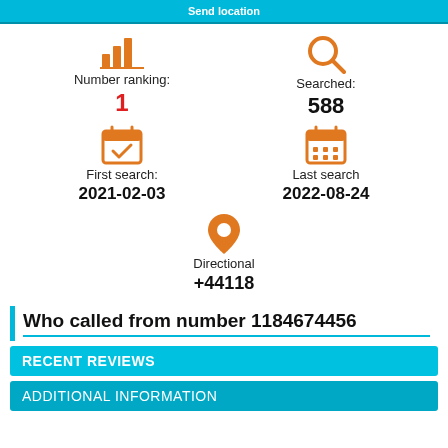Send location
Number ranking: 1
Searched: 588
First search: 2021-02-03
Last search: 2022-08-24
Directional
+44118
Who called from number 1184674456
RECENT REVIEWS
ADDITIONAL INFORMATION